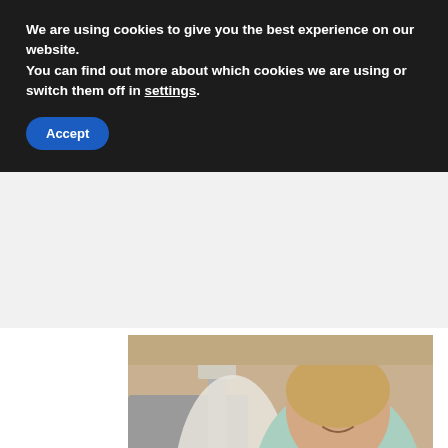We are using cookies to give you the best experience on our website.
You can find out more about which cookies we are using or switch them off in settings.
Accept
[Figure (photo): A woman smiling in a light blue cardigan, with a man in a grey t-shirt in the background applying something to a wall, suggesting home renovation/maintenance.]
Home Maintenance Guide For Every Season